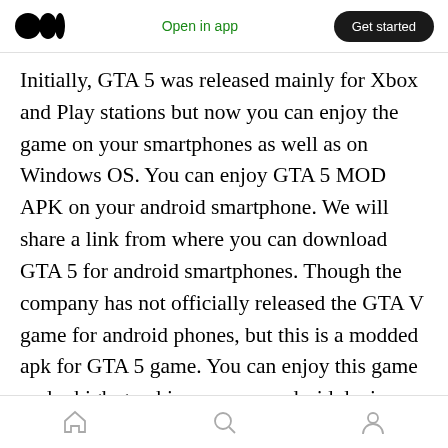Medium logo | Open in app | Get started
Initially, GTA 5 was released mainly for Xbox and Play stations but now you can enjoy the game on your smartphones as well as on Windows OS. You can enjoy GTA 5 MOD APK on your android smartphone. We will share a link from where you can download GTA 5 for android smartphones. Though the company has not officially released the GTA V game for android phones, but this is a modded apk for GTA 5 game. You can enjoy this game under high graphics on your android device. You just need to have an android smartphone with same basic features.
Home | Search | Profile